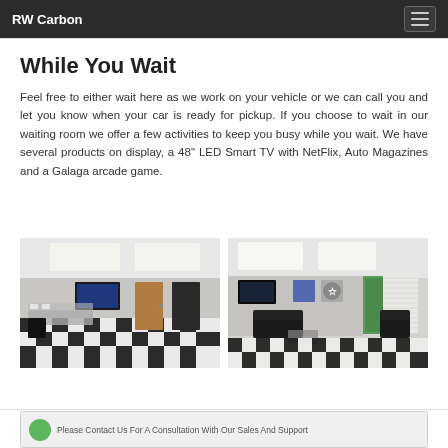RW Carbon
While You Wait
Feel free to either wait here as we work on your vehicle or we can call you and let you know when your car is ready for pickup. If you choose to wait in our waiting room we offer a few activities to keep you busy while you wait. We have several products on display, a 48" LED Smart TV with NetFlix, Auto Magazines and a Galaga arcade game.
[Figure (photo): Waiting room interior with black and white checkered floor, display cases, TV mounted on wall, and wood doors]
[Figure (photo): Waiting room interior with black and white checkered floor, black sofas, TV on wall, and green car visible through open door]
Please Contact Us For A Consultation With Our Sales And Support